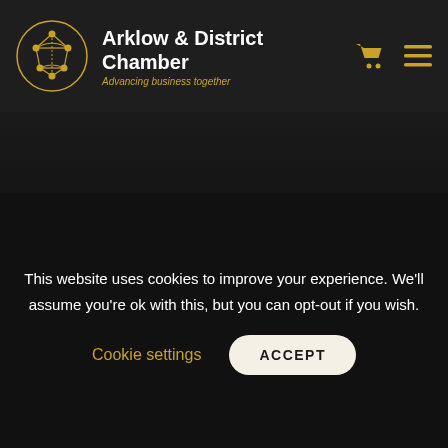Arklow & District Chamber — Advancing business together
[Figure (logo): Arklow & District Chamber logo with circular golden network graphic and text]
[Figure (logo): Arklow & District Chamber larger logo at bottom section]
Arklow & District
This website uses cookies to improve your experience. We'll assume you're ok with this, but you can opt-out if you wish.
Cookie settings    ACCEPT